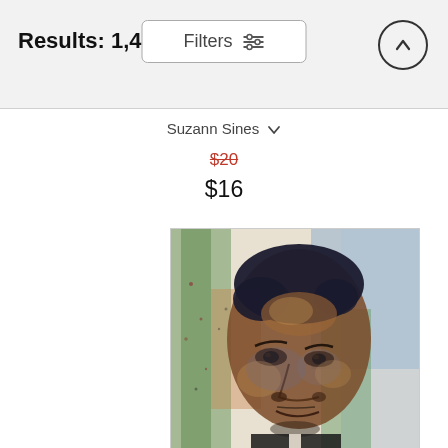Results: 1,459
Filters
Suzann Sines
$20
$16
[Figure (illustration): Watercolor portrait painting of a man with short dark hair, painted in loose expressive brushstrokes with colorful background in greens, blues, and oranges.]